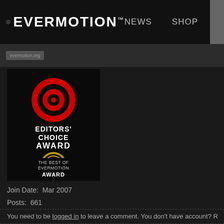EVERMOTION™   NEWS   SHOP
[Figure (logo): Evermotion Editors Choice Award badge with red target icon, gold E logo, text: EDITORS' CHOICE AWARD, THE BEST OF EVERMOTION AWARD]
Join Date:  Mar 2007
Posts:  661
You need to be logged in to leave a comment. You don't have account? R
« PREVIOUS THREAD  |  NEXT THREAD »